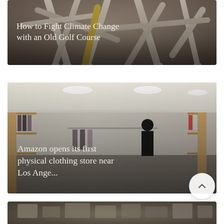[Figure (photo): Pile of wooden golf tees photographed from above, with text overlay reading 'How to Fight Climate Change with an Old Golf Course']
How to Fight Climate Change with an Old Golf Course
[Figure (photo): Interior of a bright retail clothing store with wooden fixtures, clothing racks, and a customer browsing, with text overlay]
Amazon opens its first physical clothing store near Los Ange...
[Figure (photo): Partially visible third article card at bottom of page showing what appears to be a pile of items]